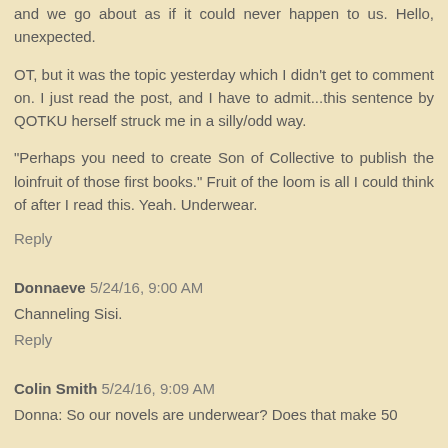and we go about as if it could never happen to us. Hello, unexpected.
OT, but it was the topic yesterday which I didn't get to comment on. I just read the post, and I have to admit...this sentence by QOTKU herself struck me in a silly/odd way.
"Perhaps you need to create Son of Collective to publish the loinfruit of those first books." Fruit of the loom is all I could think of after I read this. Yeah. Underwear.
Reply
Donnaeve 5/24/16, 9:00 AM
Channeling Sisi.
Reply
Colin Smith 5/24/16, 9:09 AM
Donna: So our novels are underwear? Does that make 50